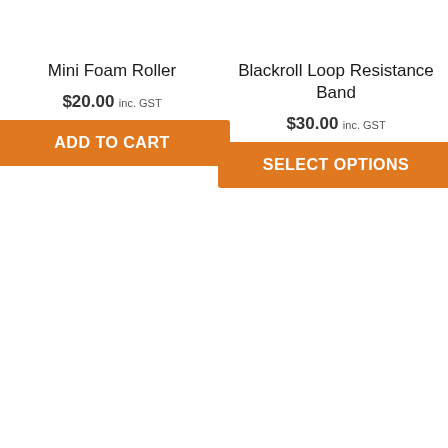Mini Foam Roller
$20.00 inc. GST
ADD TO CART
Blackroll Loop Resistance Band
$30.00 inc. GST
SELECT OPTIONS